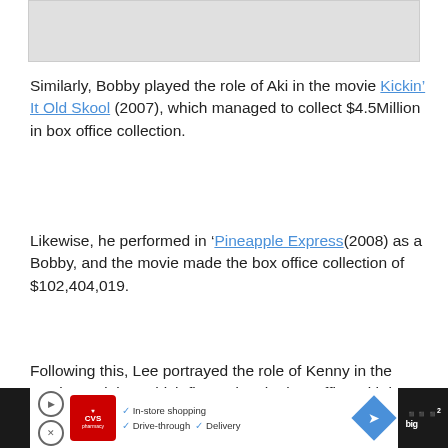[Figure (other): Gray placeholder image area at the top of the page]
Similarly, Bobby played the role of Aki in the movie Kickin' It Old Skool (2007), which managed to collect $4.5Million in box office collection.
Likewise, he performed in 'Pineapple Express(2008) as a Bobby, and the movie made the box office collection of $102,404,019.
Following this, Lee portrayed the role of Kenny in the movie 'Undoing' which flopped at the box office with just over $45,000 as earnings.
[Figure (other): CVS Pharmacy advertisement banner at the bottom showing In-store shopping, Drive-through, and Delivery options with navigation and Wired logo icons]